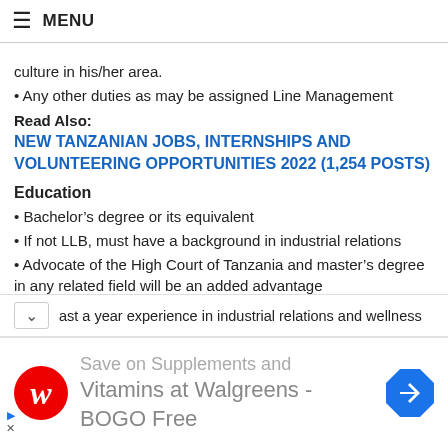≡  MENU
culture in his/her area.
Any other duties as may be assigned Line Management
Read Also:
NEW TANZANIAN JOBS, INTERNSHIPS AND VOLUNTEERING OPPORTUNITIES 2022 (1,254 POSTS)
Education
Bachelor's degree or its equivalent
If not LLB, must have a background in industrial relations
Advocate of the High Court of Tanzania and master's degree in any related field will be an added advantage
Knowledge and Specific Experience
ast a year experience in industrial relations and wellness
[Figure (infographic): Walgreens advertisement banner: Save on Supplements and Vitamins at Walgreens - BOGO Free, with Walgreens logo and navigation arrow icon]